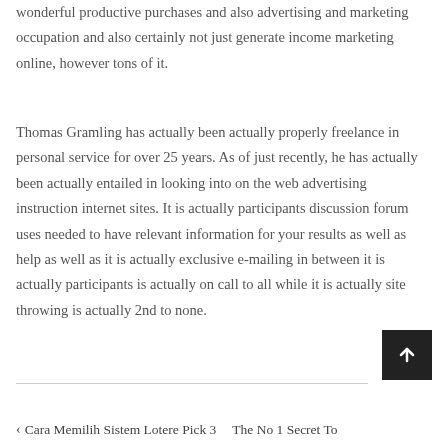wonderful productive purchases and also advertising and marketing occupation and also certainly not just generate income marketing online, however tons of it.
Thomas Gramling has actually been actually properly freelance in personal service for over 25 years. As of just recently, he has actually been actually entailed in looking into on the web advertising instruction internet sites. It is actually participants discussion forum uses needed to have relevant information for your results as well as help as well as it is actually exclusive e-mailing in between it is actually participants is actually on call to all while it is actually site throwing is actually 2nd to none.
‹ Cara Memilih Sistem Lotere Pick 3    The No 1 Secret To